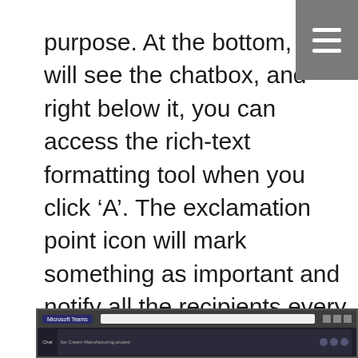purpose. At the bottom, you will see the chatbox, and right below it, you can access the rich-text formatting tool when you click ‘A’. The exclamation point icon will mark something as important and notify all the recipients every 2 minutes for 20 minutes. Below the chatbox, you will also find the emojis, giphys, stickers, and the three ellipses to install applications, such as Survey Monkey, Zoom, and more. Another cool thing about Teams is that whenever you add someone to a chat, you can choose to include the entire chat history, a certain amount of it, like 2, 3, 14 days’ worth of information, or none of it so that you can protect the privacy of your group. Click this link to see how it’s done: 16:04–25:08.
[Figure (screenshot): Screenshot of Microsoft Teams interface showing a chat window with Ice Cream Manufacturing project]